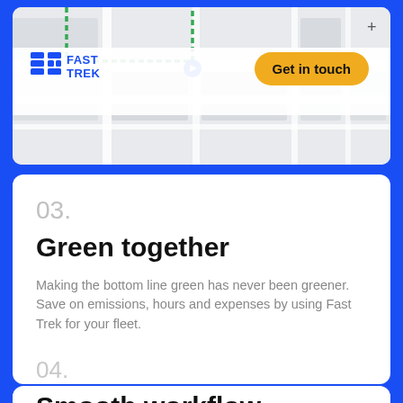[Figure (screenshot): Map background showing street layout with a navigation/route marker, the Fast Trek logo (blue icon + text) on the left, and an amber 'Get in touch' button on the right, with a '+' zoom control.]
03.
Green together
Making the bottom line green has never been greener. Save on emissions, hours and expenses by using Fast Trek for your fleet.
04.
Smooth workflow